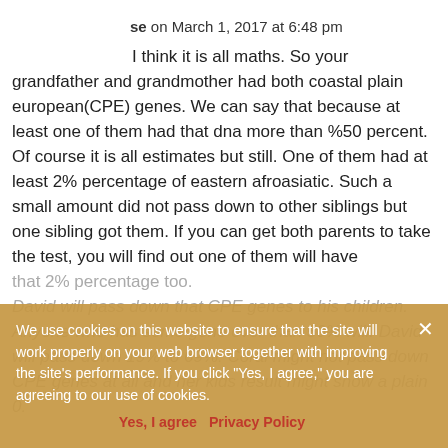se on March 1, 2017 at 6:48 pm
I think it is all maths. So your grandfather and grandmother had both coastal plain european(CPE) genes. We can say that because at least one of them had that dna more than %50 percent.
Of course it is all estimates but still. One of them had at least 2% percentage of eastern afroasiatic. Such a small amount did not pass down to other siblings but one sibling got them. If you can get both parents to take the test, you will find out one of them will have that 2% percentage too.
David will pass down that CPE genes to his children. Anyone who has some gene over than 50% will. David will pass down 19% to 69%. Coral might not pass down CPE genes at all and her kids result might show a plain 0.
We use cookies on this website to ensure that the site will work properly on your web browser together with improving the site's performance. If you click "Yes, I agree," you are agreeing to our use of cookies.
Yes, I agree   Privacy Policy